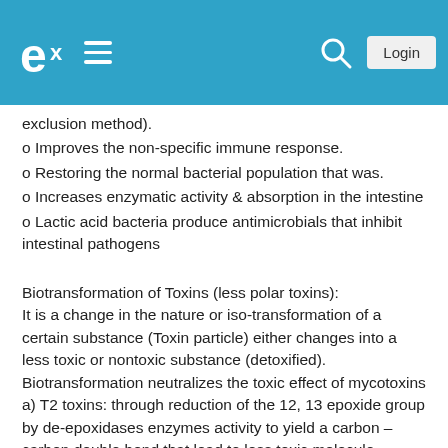e-logo | menu | search | Login
exclusion method).
o Improves the non-specific immune response.
o Restoring the normal bacterial population that was.
o Increases enzymatic activity & absorption in the intestine
o Lactic acid bacteria produce antimicrobials that inhibit intestinal pathogens
Biotransformation of Toxins (less polar toxins): It is a change in the nature or iso-transformation of a certain substance (Toxin particle) either changes into a less toxic or nontoxic substance (detoxified). Biotransformation neutralizes the toxic effect of mycotoxins
a) T2 toxins: through reduction of the 12, 13 epoxide group by de-epoxidases enzymes activity to yield a carbon – carbon double bond that lead to less toxic molecule.
b) Zearalenone detoxification :
Transformation of the chemical structure of the toxin molecules by the yeast strains (ester hydrolysis) into a similar molecule but non toxic.